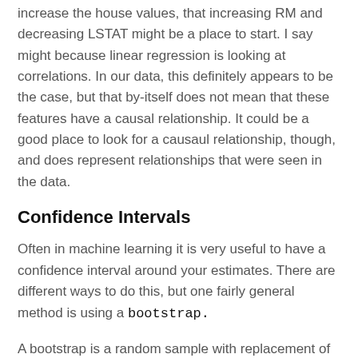increase the house values, that increasing RM and decreasing LSTAT might be a place to start. I say might because linear regression is looking at correlations. In our data, this definitely appears to be the case, but that by-itself does not mean that these features have a causal relationship. It could be a good place to look for a causaul relationship, though, and does represent relationships that were seen in the data.
Confidence Intervals
Often in machine learning it is very useful to have a confidence interval around your estimates. There are different ways to do this, but one fairly general method is using a bootstrap.
A bootstrap is a random sample with replacement of our data and this sample is of the same size of the original